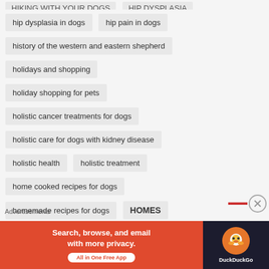HIKING WITH YOUR DOGS   HIP DYSPLASIA
hip dysplasia in dogs   hip pain in dogs
history of the western and eastern shepherd
holidays and shopping
holiday shopping for pets
holistic cancer treatments for dogs
holistic care for dogs with kidney disease
holistic health   holistic treatment
home cooked recipes for dogs
homemade recipes for dogs   HOMES
Homeward Bound Animal Welfare Group
Advertisements
[Figure (other): DuckDuckGo advertisement banner: orange section with text 'Search, browse, and email with more privacy. All in One Free App' and dark section with DuckDuckGo logo and duck icon]